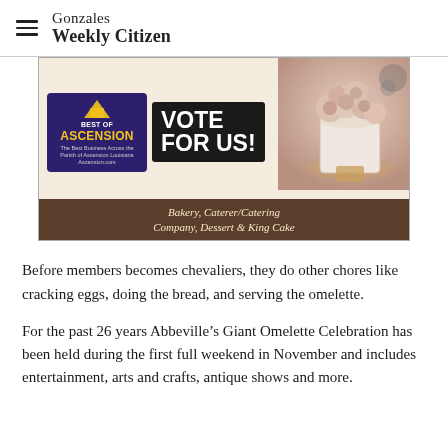Gonzales Weekly Citizen
[Figure (photo): Advertisement for a bakery showing 'Best of Ascension - Vote For Us!' with a decorated cake with roses on the right side. Categories listed: Bakery, Caterer/Catering Company, Dessert & King Cake]
Before members becomes chevaliers, they do other chores like cracking eggs, doing the bread, and serving the omelette.
For the past 26 years Abbeville’s Giant Omelette Celebration has been held during the first full weekend in November and includes entertainment, arts and crafts, antique shows and more.